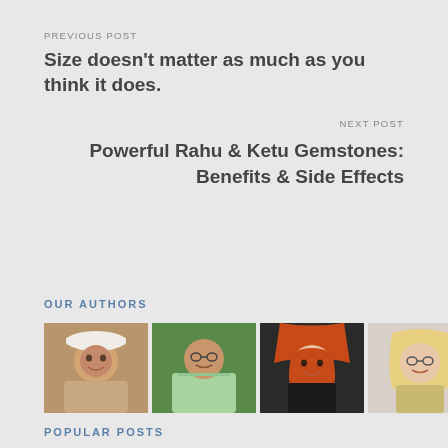PREVIOUS POST
Size doesn't matter as much as you think it does.
NEXT POST
Powerful Rahu & Ketu Gemstones: Benefits & Side Effects
OUR AUTHORS
[Figure (photo): Four author profile photos arranged in a row]
POPULAR POSTS